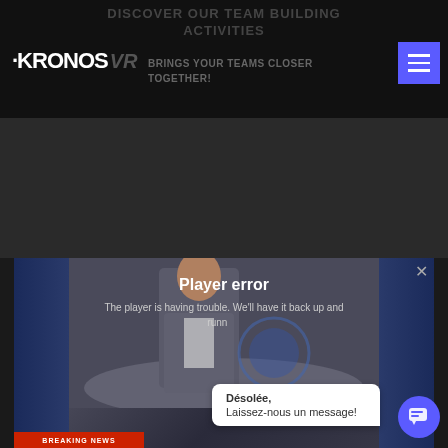DISCOVER OUR TEAM BUILDING ACTIVITIES
[Figure (logo): KRONOS VR logo in white on black background with menu button]
BRINGS YOUR TEAMS CLOSER TOGETHER!
[Figure (screenshot): Video player showing a man in a suit in a news studio set, with a Player error overlay message reading: The player is having trouble. We'll have it back up and running. Breaking News bar at bottom. Chat tooltip saying Désolée, Laissez-nous un message! with a blue chat button.]
Player error
The player is having trouble. We'll have it back up and running.
Désolée,
Laissez-nous un message!